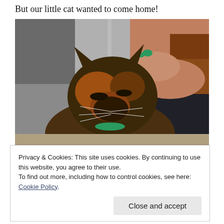But our little cat wanted to come home!
[Figure (photo): A tortoiseshell cat being petted by a person with green nail polish, lying on a grey blanket. Shelter or vet setting.]
Privacy & Cookies: This site uses cookies. By continuing to use this website, you agree to their use.
To find out more, including how to control cookies, see here: Cookie Policy
Close and accept
day that week.